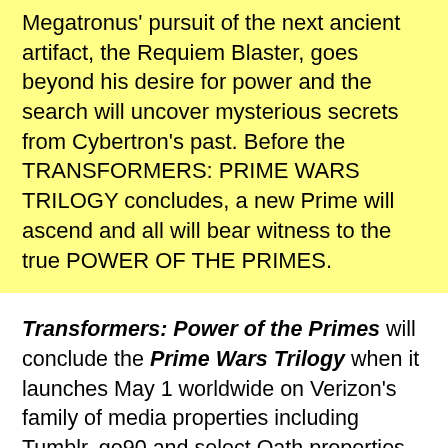Megatronus' pursuit of the next ancient artifact, the Requiem Blaster, goes beyond his desire for power and the search will uncover mysterious secrets from Cybertron's past. Before the TRANSFORMERS: PRIME WARS TRILOGY concludes, a new Prime will ascend and all will bear witness to the true POWER OF THE PRIMES.
Transformers: Power of the Primes will conclude the Prime Wars Trilogy when it launches May 1 worldwide on Verizon's family of media properties including Tumblr, go90 and select Oath properties – except in China, where it airs on Sohu.com, and